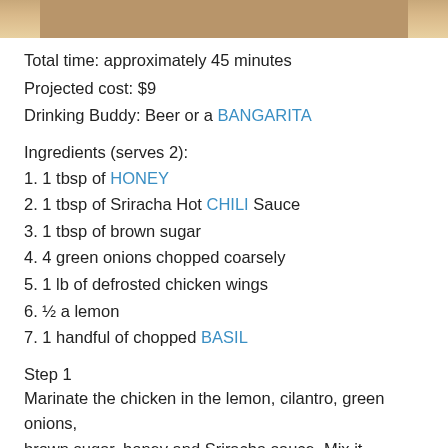[Figure (photo): Partial crop of a food photo showing chicken wings dish, visible at the top of the page]
Total time: approximately 45 minutes
Projected cost: $9
Drinking Buddy: Beer or a BANGARITA
Ingredients (serves 2):
1. 1 tbsp of HONEY
2. 1 tbsp of Sriracha Hot CHILI Sauce
3. 1 tbsp of brown sugar
4. 4 green onions chopped coarsely
5. 1 lb of defrosted chicken wings
6. ½ a lemon
7. 1 handful of chopped BASIL
Step 1
Marinate the chicken in the lemon, cilantro, green onions, brown sugar, honey and Sriracha sauce. Mix it together